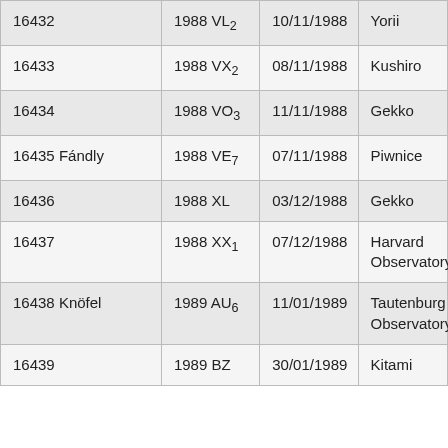| 16432 | 1988 VL₂ | 10/11/1988 | Yorii |
| 16433 | 1988 VX₂ | 08/11/1988 | Kushiro |
| 16434 | 1988 VO₃ | 11/11/1988 | Gekko |
| 16435 Fándly | 1988 VE₇ | 07/11/1988 | Piwnice |
| 16436 | 1988 XL | 03/12/1988 | Gekko |
| 16437 | 1988 XX₁ | 07/12/1988 | Harvard Observatory |
| 16438 Knöfel | 1989 AU₆ | 11/01/1989 | Tautenburg Observatory |
| 16439 | 1989 BZ | 30/01/1989 | Kitami |